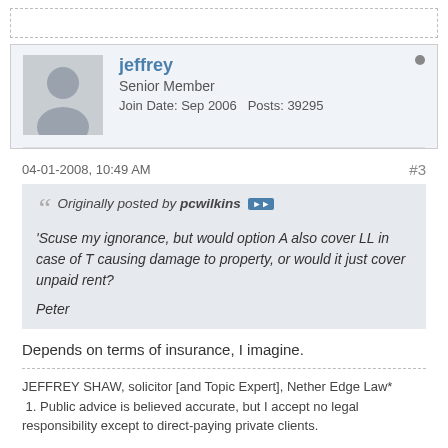jeffrey | Senior Member | Join Date: Sep 2006 | Posts: 39295
04-01-2008, 10:49 AM  #3
Originally posted by pcwilkins
'Scuse my ignorance, but would option A also cover LL in case of T causing damage to property, or would it just cover unpaid rent?

Peter
Depends on terms of insurance, I imagine.
JEFFREY SHAW, solicitor [and Topic Expert], Nether Edge Law*
1. Public advice is believed accurate, but I accept no legal responsibility except to direct-paying private clients.